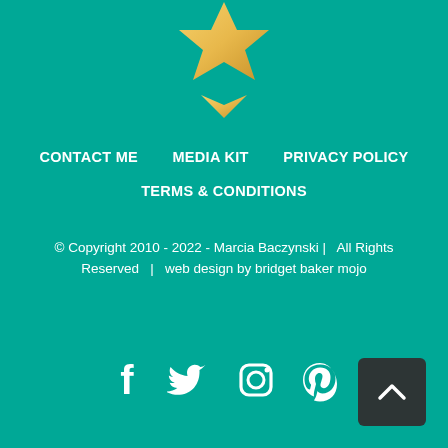[Figure (logo): Gold decorative star/badge logo shape, partially visible at top of page]
CONTACT ME
MEDIA KIT
PRIVACY POLICY
TERMS & CONDITIONS
© Copyright 2010 - 2022 - Marcia Baczynski |   All Rights Reserved   |   web design by bridget baker mojo
[Figure (illustration): Social media icons: Facebook, Twitter, Instagram, Pinterest — white on teal background]
[Figure (other): Back to top button — dark rounded square with upward chevron arrow]